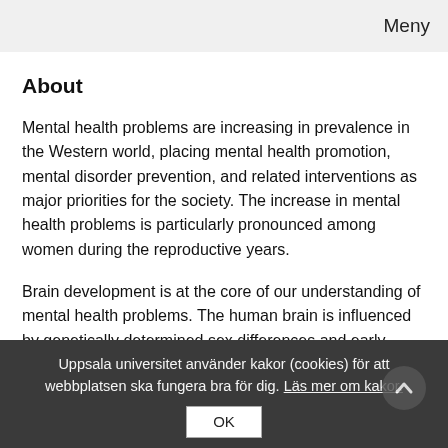Meny
About
Mental health problems are increasing in prevalence in the Western world, placing mental health promotion, mental disorder prevention, and related interventions as major priorities for the society. The increase in mental health problems is particularly pronounced among women during the reproductive years.
Brain development is at the core of our understanding of mental health problems. The human brain is influenced by genetically determined sex differences and early postnatal
Uppsala universitet använder kakor (cookies) för att webbplatsen ska fungera bra för dig. Läs mer om kakor.
OK